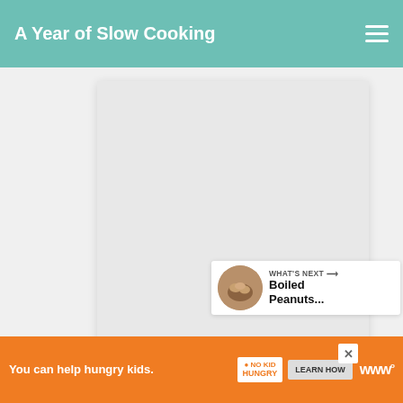A Year of Slow Cooking
[Figure (screenshot): White/gray content card area with a large light gray rectangle placeholder (image area), followed by an orange 'GET MY EBOOK!' button below]
GET MY EBOOK!
[Figure (infographic): Floating right-side action buttons: teal heart icon with count 18, and a share icon below]
18
[Figure (screenshot): WHAT'S NEXT card with peanut thumbnail image and text 'Boiled Peanuts...']
WHAT'S NEXT → Boiled Peanuts...
[Figure (screenshot): Second content card with gray placeholder area]
You can help hungry kids. NO KID HUNGRY LEARN HOW
You can help hungry kids.